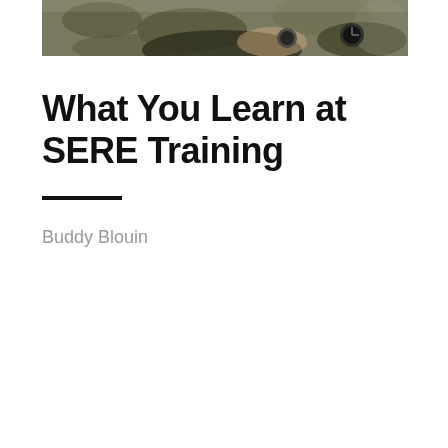[Figure (photo): Photograph of military personnel in camouflage gear, looking at a compass or device, cropped at the top of the page]
What You Learn at SERE Training
Buddy Blouin